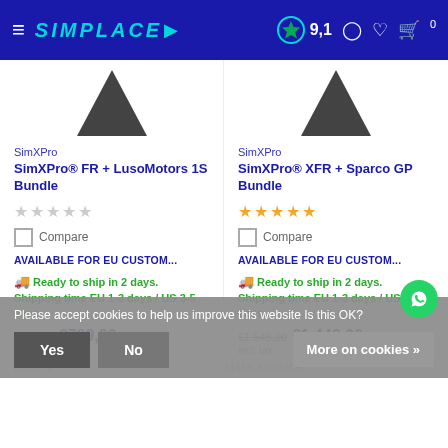SIMPLACE navigation bar with logo, rating 9.1, user icons, and cart
SimXPro
SimXPro® FR + LusoMotors 1S Bundle
★★★★★ (empty stars)
Compare
AVAILABLE FOR EU CUSTOM...
Ready to ship in 2 days. Shipping time EU 1-3 days / US 3-5 days
€899,00 €799,00
Incl. tax
SimXPro
SimXPro® XFR + Sparco GP Bundle
★★★★★ (filled orange stars)
Compare
AVAILABLE FOR EU CUSTOM...
Ready to ship in 2 days. Shipping time EU 1-3 days / US 3-5 days
€1.548,00 €1.449,00
Incl. tax
Please accept cookies to help us improve this website Is this OK?
Yes | No | More on cookies »
Make a choice